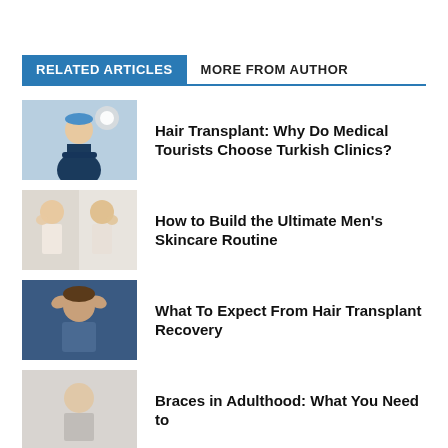RELATED ARTICLES   MORE FROM AUTHOR
Hair Transplant: Why Do Medical Tourists Choose Turkish Clinics?
How to Build the Ultimate Men's Skincare Routine
What To Expect From Hair Transplant Recovery
Braces in Adulthood: What You Need to